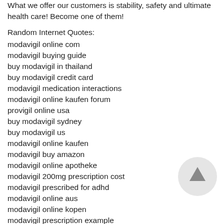What we offer our customers is stability, safety and ultimate health care! Become one of them!
Random Internet Quotes:
modavigil online com
modavigil buying guide
buy modavigil in thailand
buy modavigil credit card
modavigil medication interactions
modavigil online kaufen forum
provigil online usa
buy modavigil sydney
buy modavigil us
modavigil online kaufen
modavigil buy amazon
modavigil online apotheke
modavigil 200mg prescription cost
modavigil prescribed for adhd
modavigil online aus
modavigil online kopen
modavigil prescription example
buy modavigil ireland
modavigil farmacie online
buy modavigil online in usa
buy modavigil online canada
buy modavigil